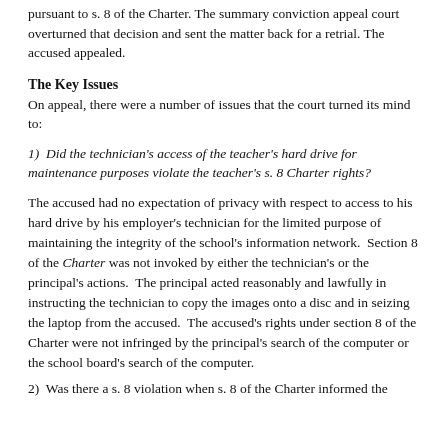pursuant to s. 8 of the Charter. The summary conviction appeal court overturned that decision and sent the matter back for a retrial. The accused appealed.
The Key Issues
On appeal, there were a number of issues that the court turned its mind to:
1)  Did the technician's access of the teacher's hard drive for maintenance purposes violate the teacher's s. 8 Charter rights?
The accused had no expectation of privacy with respect to access to his hard drive by his employer's technician for the limited purpose of maintaining the integrity of the school's information network. Section 8 of the Charter was not invoked by either the technician's or the principal's actions. The principal acted reasonably and lawfully in instructing the technician to copy the images onto a disc and in seizing the laptop from the accused. The accused's rights under section 8 of the Charter were not infringed by the principal's search of the computer or the school board's search of the computer.
2)  Was there a s. 8 violation when s. 8 of the Charter informed the...